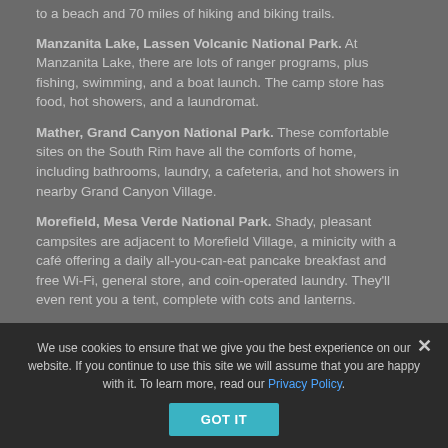to a beach and 70 miles of hiking and biking trails.
Manzanita Lake, Lassen Volcanic National Park. At Manzanita Lake, there are lots of ranger programs, plus fishing, swimming, and a boat launch. The camp store has food, hot showers, and a laundromat.
Mather, Grand Canyon National Park. These comfortable sites on the South Rim have all the comforts of home, including bathrooms, laundry, a cafeteria, and hot showers in nearby Grand Canyon Village.
Morefield, Mesa Verde National Park. Shady, pleasant campsites are adjacent to Morefield Village, a minicity with a café offering a daily all-you-can-eat pancake breakfast and free Wi-Fi, general store, and coin-operated laundry. They'll even rent you a tent, complete with cots and lanterns.
Sheep Creek, Sequoia and Kings Canyon National Park. This campground is set in the canyon on the wild...
We use cookies to ensure that we give you the best experience on our website. If you continue to use this site we will assume that you are happy with it. To learn more, read our Privacy Policy.
GOT IT